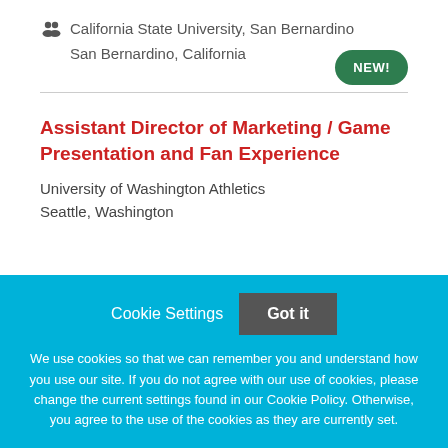California State University, San Bernardino
San Bernardino, California
NEW!
Assistant Director of Marketing / Game Presentation and Fan Experience
University of Washington Athletics
Seattle, Washington
Cookie Settings  Got it
We use cookies so that we can remember you and understand how you use our site. If you do not agree with our use of cookies, please change the current settings found in our Cookie Policy. Otherwise, you agree to the use of the cookies as they are currently set.